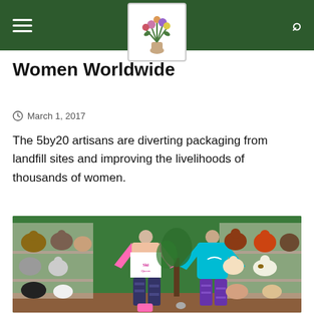[navigation bar with hamburger menu, logo, and search icon]
Women Worldwide
March 1, 2017
The 5by20 artisans are diverting packaging from landfill sites and improving the livelihoods of thousands of women.
[Figure (photo): Two mannequins in a store display wearing athletic clothing — one in a pink raglan ski top with printed leggings, one in a teal Nike hoodie with purple leggings. Surrounded by stuffed animal toys on shelving units against a green wall.]